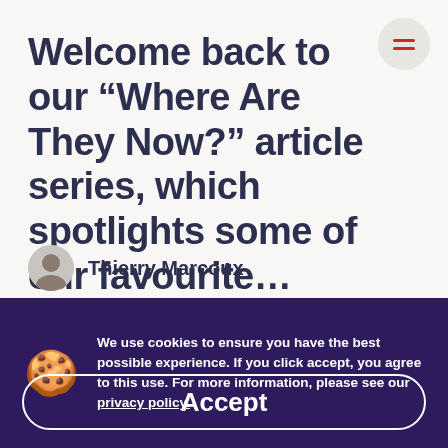Welcome back to our “Where Are They Now?” article series, which spotlights some of our favourite…
Thierry Marcoux
We use cookies to ensure you have the best possible experience. If you click accept, you agree to this use. For more information, please see our privacy policy.
Accept